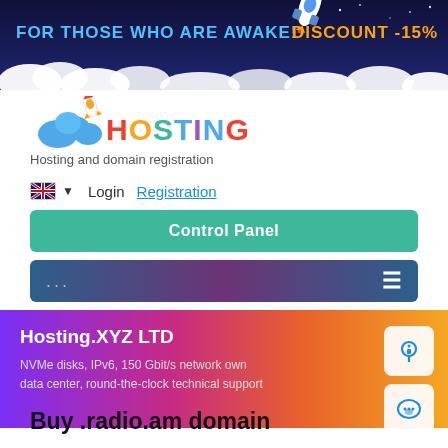[Figure (screenshot): Dark blue promotional banner with text 'FOR THOSE WHO ARE AWAKE!' and 'DISCOUNT -15%', rocket illustration, cloud graphics]
[Figure (logo): Hosting.XYZ logo with blue cloud icon, orange rocket, and colorful HOSTING text]
Hosting and domain registration
Login   Registration
Control Panel
... ≡
Hosting.XYZ LTD
NVMe disks, IPv6, 150 Gbit/s network own data center, round-the-clock technical support
Buy .radio.am domain